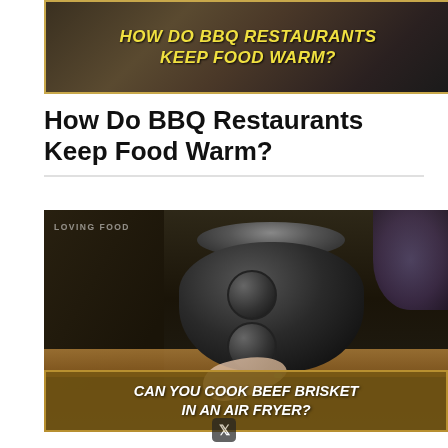[Figure (photo): Blog post thumbnail image with dark background and text overlay reading 'HOW DO BBQ RESTAURANTS KEEP FOOD WARM?' in yellow bold italic text on dark background with gold border]
How Do BBQ Restaurants Keep Food Warm?
[Figure (photo): Photo of a black air fryer on a kitchen counter with two control knobs, a hand reaching toward it, kitchen items in background including a kettle and purple flowers. LOVING FOOD watermark in top left. Bottom overlay banner reads 'CAN YOU COOK BEEF BRISKET IN AN AIR FRYER?' in white italic bold uppercase text on brown/gold banner with border.]